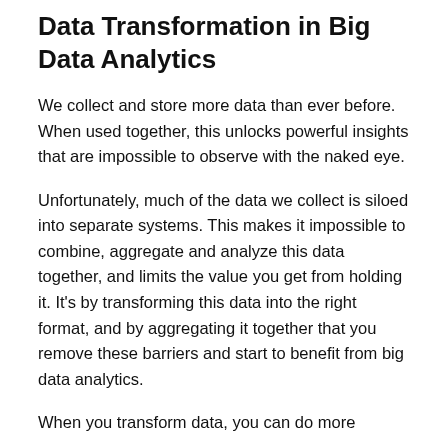Data Transformation in Big Data Analytics
We collect and store more data than ever before. When used together, this unlocks powerful insights that are impossible to observe with the naked eye.
Unfortunately, much of the data we collect is siloed into separate systems. This makes it impossible to combine, aggregate and analyze this data together, and limits the value you get from holding it. It’s by transforming this data into the right format, and by aggregating it together that you remove these barriers and start to benefit from big data analytics.
When you transform data, you can do more